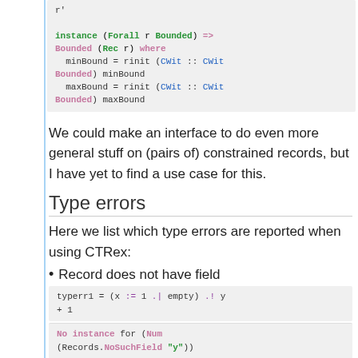[Figure (screenshot): Code block showing Haskell instance definition for Bounded (Rec r) with minBound and maxBound]
We could make an interface to do even more general stuff on (pairs of) constrained records, but I have yet to find a use case for this.
Type errors
Here we list which type errors are reported when using CTRex:
Record does not have field
[Figure (screenshot): Code block: typerr1 = (x := 1 .| empty) .! y + 1]
[Figure (screenshot): Code block: No instance for (Num (Records.NoSuchField "y"))]